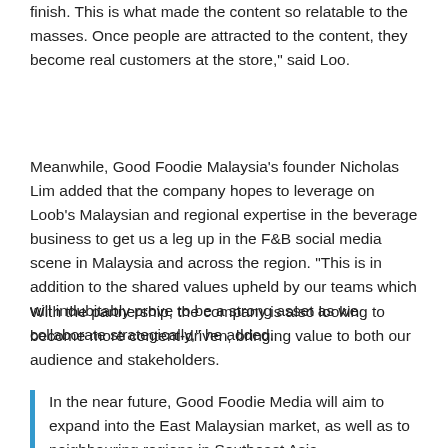finish. This is what made the content so relatable to the masses. Once people are attracted to the content, they become real customers at the store," said Loo.
Meanwhile, Good Foodie Malaysia’s founder Nicholas Lim added that the company hopes to leverage on Loob’s Malaysian and regional expertise in the beverage business to get us a leg up in the F&B social media scene in Malaysia and across the region. “This is in addition to the shared values upheld by our teams which will indubitably prove to be a strong asset as we collaborate strategically,” he added.
With the partnership, the company is also looking to become more content-driven, bringing value to both our audience and stakeholders.
In the near future, Good Foodie Media will aim to expand into the East Malaysian market, as well as to neighbouring regions in Southeast Asia.